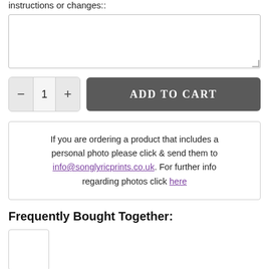instructions or changes::
[textarea input field]
— 1 + ADD TO CART
If you are ordering a product that includes a personal photo please click & send them to info@songlyricprints.co.uk. For further info regarding photos click here
Frequently Bought Together:
[Figure (other): Small product thumbnail box (empty/white)]